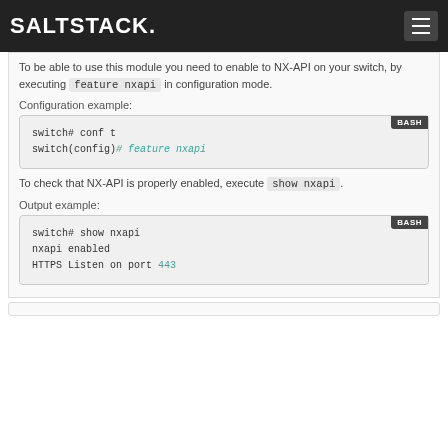SALTSTACK
To be able to use this module you need to enable to NX-API on your switch, by executing feature nxapi in configuration mode.
Configuration example:
[Figure (screenshot): BASH code block: switch# conf t
switch(config)# feature nxapi]
To check that NX-API is properly enabled, execute show nxapi .
Output example:
[Figure (screenshot): BASH code block: switch# show nxapi
nxapi enabled
HTTPS Listen on port 443]